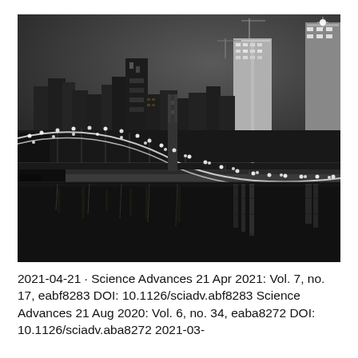[Figure (photo): Black and white nighttime photograph of the Brooklyn Bridge with the Manhattan skyline in the background, illuminated buildings and bridge lights reflected in the water below.]
2021-04-21 · Science Advances 21 Apr 2021: Vol. 7, no. 17, eabf8283 DOI: 10.1126/sciadv.abf8283 Science Advances 21 Aug 2020: Vol. 6, no. 34, eaba8272 DOI: 10.1126/sciadv.aba8272 2021-03-